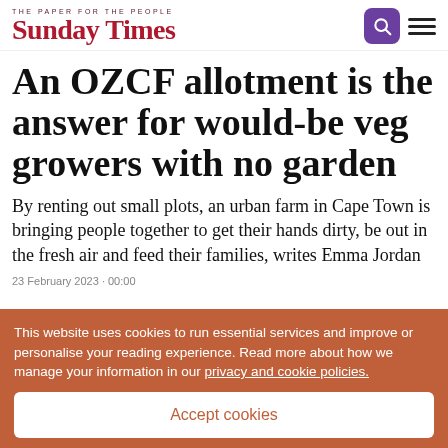THE PAPER FOR THE PEOPLE — Sunday Times
An OZCF allotment is the answer for would-be veg growers with no garden
By renting out small plots, an urban farm in Cape Town is bringing people together to get their hands dirty, be out in the fresh air and feed their families, writes Emma Jordan
23 February 2023 · 00:00
This website uses cookies to run essential services and improve or personalise your reading experience. Read more about how we manage your information in our privacy and cookie policies.
Accept cookies